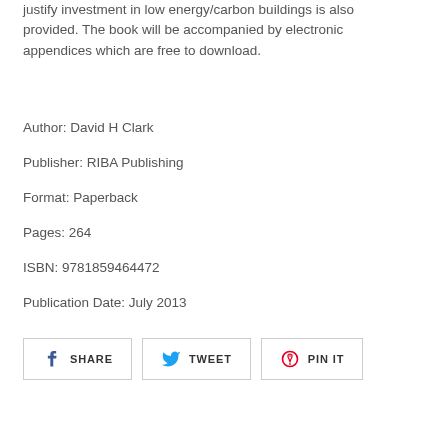justify investment in low energy/carbon buildings is also provided. The book will be accompanied by electronic appendices which are free to download.
Author: David H Clark
Publisher: RIBA Publishing
Format: Paperback
Pages: 264
ISBN: 9781859464472
Publication Date: July 2013
[Figure (other): Three social sharing buttons: SHARE (Facebook), TWEET (Twitter), PIN IT (Pinterest)]